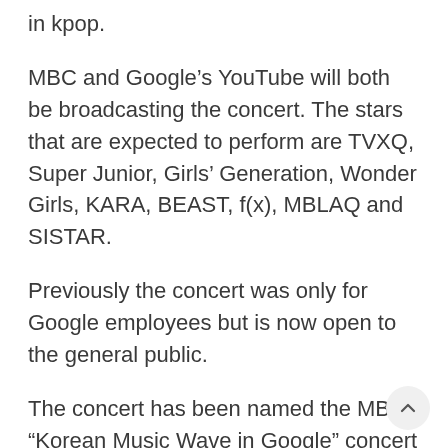in kpop.
MBC and Google's YouTube will both be broadcasting the concert. The stars that are expected to perform are TVXQ, Super Junior, Girls' Generation, Wonder Girls, KARA, BEAST, f(x), MBLAQ and SISTAR.
Previously the concert was only for Google employees but is now open to the general public.
The concert has been named the MBC “Korean Music Wave in Google” concert and is free but you will have to apply for tickets beforehand.
Doors will open at 5PM, 2 hours prior to the start